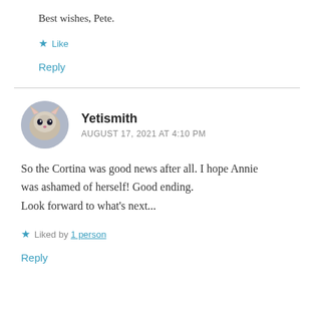Best wishes, Pete.
★ Like
Reply
Yetismith
AUGUST 17, 2021 AT 4:10 PM
So the Cortina was good news after all. I hope Annie was ashamed of herself! Good ending.
Look forward to what's next...
★ Liked by 1 person
Reply